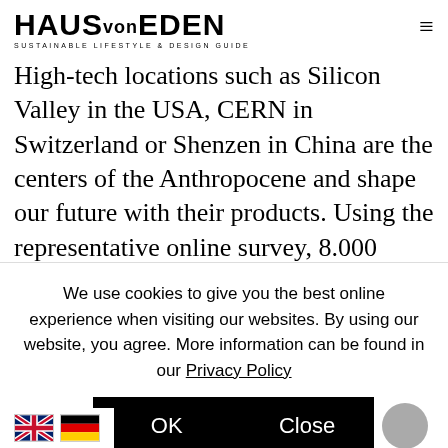HAUS von EDEN — SUSTAINABLE LIFESTYLE & DESIGN GUIDE
High-tech locations such as Silicon Valley in the USA, CERN in Switzerland or Shenzen in China are the centers of the Anthropocene and shape our future with their products. Using the representative online survey, 8.000 participants from the USA, China, Germany, UK and India were asked for their opinion: "What does
We use cookies to give you the best online experience when visiting our websites. By using our website, you agree. More information can be found in our Privacy Policy
OK   Close